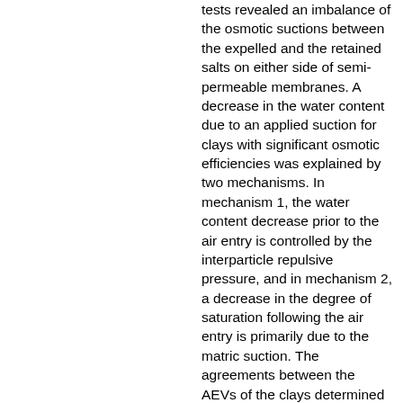tests revealed an imbalance of the osmotic suctions between the expelled and the retained salts on either side of semi-permeable membranes. A decrease in the water content due to an applied suction for clays with significant osmotic efficiencies was explained by two mechanisms. In mechanism 1, the water content decrease prior to the air entry is controlled by the interparticle repulsive pressure, and in mechanism 2, a decrease in the degree of saturation following the air entry is primarily due to the matric suction. The agreements between the AEVs of the clays determined based on the osmotic suctions corresponding to various applied suctions and that determined from the suction – degree of saturation SWCCs were found to be very good.